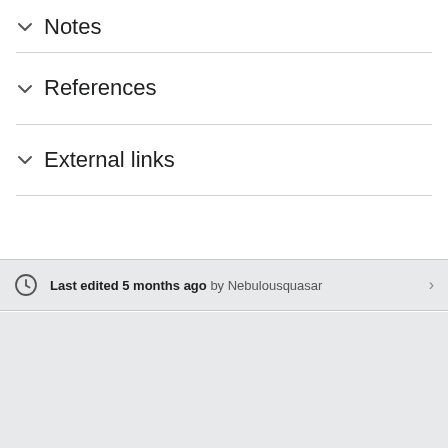Notes
References
External links
Last edited 5 months ago by Nebulousquasar